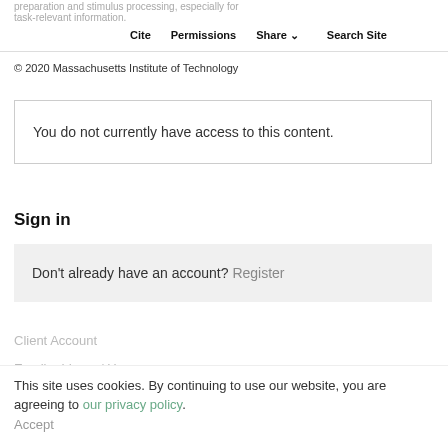preparation and stimulus processing, especially for task-relevant information. Cite  Permissions  Share  Search Site
© 2020 Massachusetts Institute of Technology
You do not currently have access to this content.
Sign in
Don't already have an account? Register
Client Account
Email address / Username
This site uses cookies. By continuing to use our website, you are agreeing to our privacy policy.
Accept